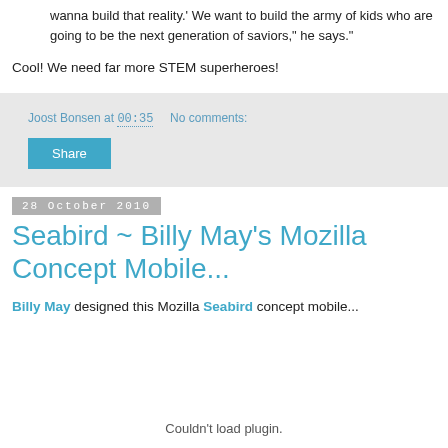wanna build that reality.' We want to build the army of kids who are going to be the next generation of saviors," he says."
Cool! We need far more STEM superheroes!
Joost Bonsen at 00:35   No comments:
Share
28 October 2010
Seabird ~ Billy May's Mozilla Concept Mobile...
Billy May designed this Mozilla Seabird concept mobile...
Couldn't load plugin.